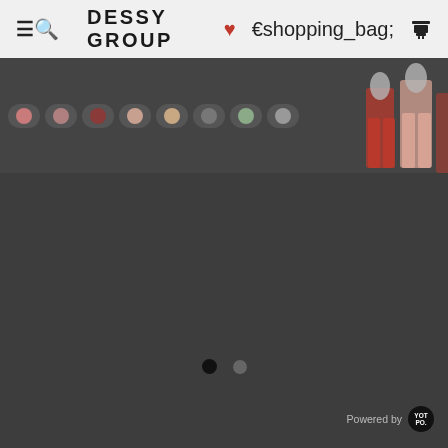DESSY GROUP
[Figure (screenshot): Product color swatch selector carousel with dress thumbnails on the right side and pagination dots below]
Powered by Yotpo
4.6 ★★★★½ 5 Reviews
Write A Review
Ask A Question
REVIEWS  QUESTIONS
Filter Reviews